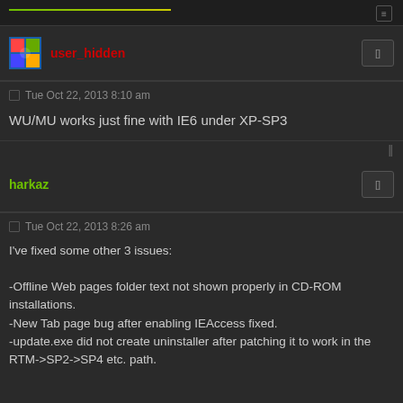user_hidden
Tue Oct 22, 2013 8:10 am
WU/MU works just fine with IE6 under XP-SP3
harkaz
Tue Oct 22, 2013 8:26 am
I've fixed some other 3 issues:

-Offline Web pages folder text not shown properly in CD-ROM installations.
-New Tab page bug after enabling IEAccess fixed.
-update.exe did not create uninstaller after patching it to work in the RTM->SP2->SP4 etc. path.